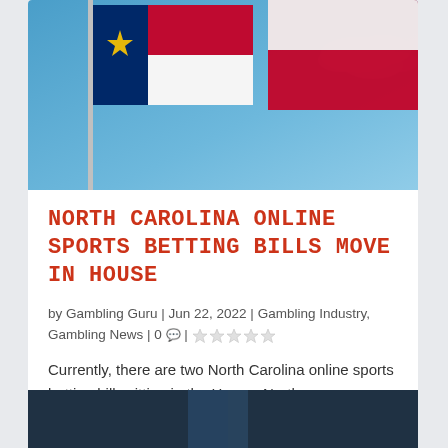[Figure (photo): North Carolina state flag waving against a blue sky with clouds]
NORTH CAROLINA ONLINE SPORTS BETTING BILLS MOVE IN HOUSE
by Gambling Guru | Jun 22, 2022 | Gambling Industry, Gambling News | 0 | ★☆☆☆☆
Currently, there are two North Carolina online sports betting bills sitting in the House. North…
READ MORE
[Figure (photo): Partial bottom photo, dark background, cropped]